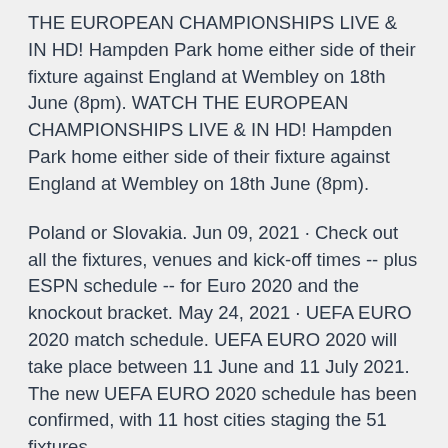THE EUROPEAN CHAMPIONSHIPS LIVE & IN HD! Hampden Park home either side of their fixture against England at Wembley on 18th June (8pm). WATCH THE EUROPEAN CHAMPIONSHIPS LIVE & IN HD! Hampden Park home either side of their fixture against England at Wembley on 18th June (8pm).
Poland or Slovakia. Jun 09, 2021 · Check out all the fixtures, venues and kick-off times -- plus ESPN schedule -- for Euro 2020 and the knockout bracket. May 24, 2021 · UEFA EURO 2020 match schedule. UEFA EURO 2020 will take place between 11 June and 11 July 2021. The new UEFA EURO 2020 schedule has been confirmed, with 11 host cities staging the 51 fixtures.